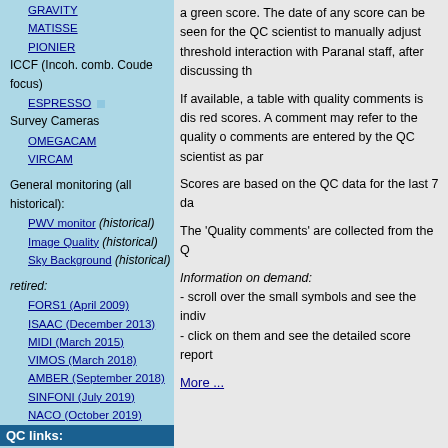GRAVITY
MATISSE
PIONIER
ICCF (Incoh. comb. Coude focus)
ESPRESSO
Survey Cameras
OMEGACAM
VIRCAM
General monitoring (all historical):
PWV monitor (historical)
Image Quality (historical)
Sky Background (historical)
retired:
FORS1 (April 2009)
ISAAC (December 2013)
MIDI (March 2015)
VIMOS (March 2018)
AMBER (September 2018)
SINFONI (July 2019)
NACO (October 2019)
QC links:
QC home
Data Products
calChecker
HealthChecks
Reference Frames
QC1 database
Paranal autrep database (ESO internal)
a green score. The date of any score can be seen for the QC scientist to manually adjust threshold interaction with Paranal staff, after discussing th
If available, a table with quality comments is dis red scores. A comment may refer to the quality o comments are entered by the QC scientist as par
Scores are based on the QC data for the last 7 da
The 'Quality comments' are collected from the Q
Information on demand:
- scroll over the small symbols and see the indiv
- click on them and see the detailed score report
More ...